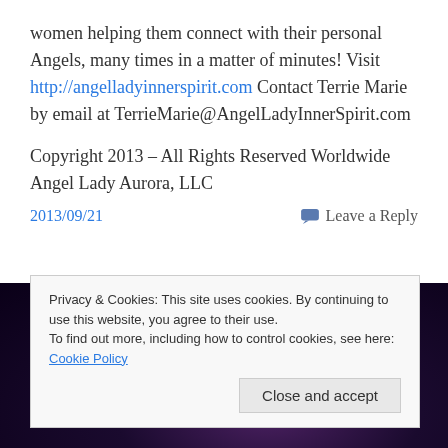women helping them connect with their personal Angels, many times in a matter of minutes!  Visit http://angelladyinnerspirit.com  Contact Terrie Marie by email at TerrieMarie@AngelLadyInnerSpirit.com
Copyright 2013 – All Rights Reserved Worldwide Angel Lady Aurora, LLC
2013/09/21   Leave a Reply
Privacy & Cookies: This site uses cookies. By continuing to use this website, you agree to their use.
To find out more, including how to control cookies, see here: Cookie Policy